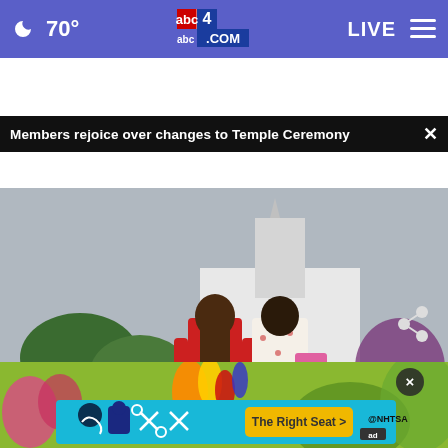70° abc4.com LIVE
Members rejoice over changes to Temple Ceremony
[Figure (screenshot): Video screenshot showing two women walking toward an LDS temple from behind. One wears red, the other wears a white floral dress. A play button overlay is visible. Lower third graphic reads: CHANGES TO LDS TEMPLE CEREMONY with abc4 UTAH logo and 23° 6:00. Secondary ticker reads: R SUCCESSFULLY MAKES FIRST-EVER LANDING ON FAR SIDE OF TH | NATIONAL]
[Figure (photo): Partial advertisement background image showing colorful flowers and green bokeh]
The Right Seat >
@NHTSA